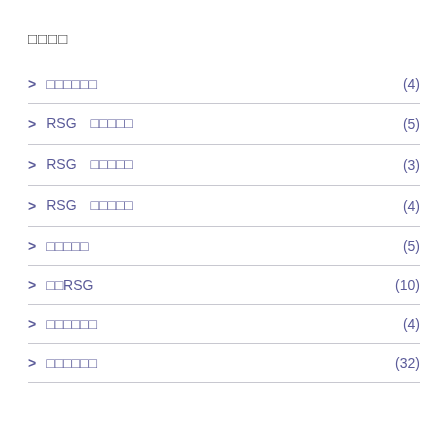□□□□
> □□□□□□ (4)
> RSG □□□□□ (5)
> RSG □□□□□ (3)
> RSG □□□□□ (4)
> □□□□□ (5)
> □□RSG (10)
> □□□□□□ (4)
> □□□□□□ (32)